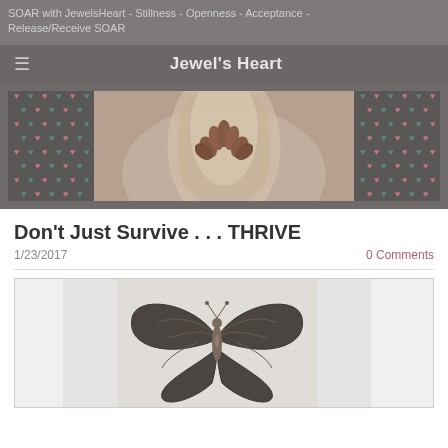SOAR with JewelsHeart - Stillness - Openness - Acceptance - Release/Receive SOAR
Jewel's Heart
[Figure (photo): Website banner with heart pattern on left and right sides, and a center photo of a decorative lotus/flower sculpture glowing with soft light]
Don't Just Survive . . . THRIVE
1/23/2017
0 Comments
[Figure (photo): A decorative metallic butterfly sculpture with ornate wing detailing, shown against a white background]